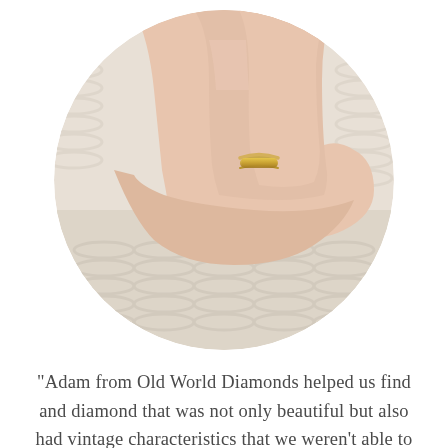[Figure (photo): Circular cropped close-up photo of a hand wearing a gold solitaire diamond engagement ring, resting on a cream knitted textile background. The diamond is round/cushion cut, set in a simple four-prong gold band.]
"Adam from Old World Diamonds helped us find and diamond that was not only beautiful but also had vintage characteristics that we weren't able to find anywhere else. He was very generous in showing us his selection and educating us about antique diamonds. We highly